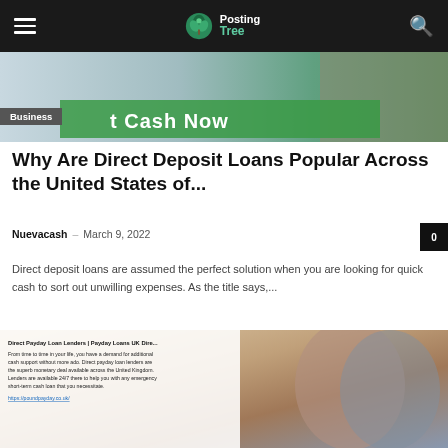Posting Tree — navigation bar with hamburger menu and search icon
[Figure (photo): Hero banner image showing text 't Cash Now' overlaid on a blurred background with green tones]
Business
Why Are Direct Deposit Loans Popular Across the United States of...
Nuevacash – March 9, 2022  0
Direct deposit loans are assumed the perfect solution when you are looking for quick cash to sort out unwilling expenses. As the title says,...
[Figure (screenshot): Screenshot of a webpage about Direct Payday Loan Lenders | Payday Loans UK, with text about direct payday loan lenders being available 24/7 and a link to https://poundpayday.co.uk/, overlaid on a photo of two people looking at a laptop]